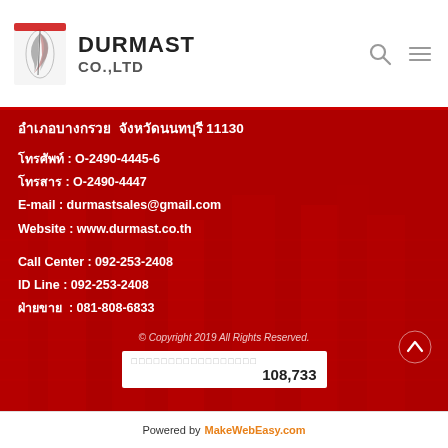DURMAST CO.,LTD
อำเภอบางกรวย  จังหวัดนนทบุรี 11130
โทรศัพท์ : O-2490-4445-6
โทรสาร : O-2490-4447
E-mail : durmastsales@gmail.com
Website : www.durmast.co.th
Call Center : 092-253-2408
ID Line : 092-253-2408
ฝ่ายขาย  : 081-808-6833
© Copyright 2019 All Rights Reserved.
108,733
Powered by MakeWebEasy.com